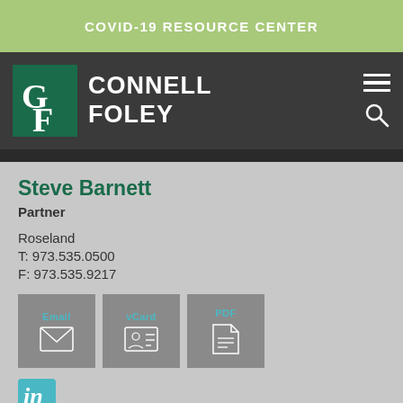COVID-19 RESOURCE CENTER
[Figure (logo): Connell Foley law firm logo — CF monogram in dark green square followed by CONNELL FOLEY text in white on dark background, with hamburger menu and search icon on right]
Steve Barnett
Partner
Roseland
T: 973.535.0500
F: 973.535.9217
[Figure (infographic): Three contact buttons: Email (envelope icon), vCard (contact card icon), PDF (document icon)]
[Figure (logo): LinkedIn logo icon in teal/blue color]